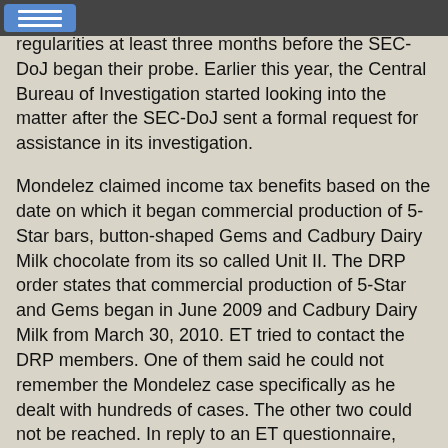[navigation bar with menu icon]
regularities at least three months before the SEC-DoJ began their probe. Earlier this year, the Central Bureau of Investigation started looking into the matter after the SEC-DoJ sent a formal request for assistance in its investigation.
Mondelez claimed income tax benefits based on the date on which it began commercial production of 5-Star bars, button-shaped Gems and Cadbury Dairy Milk chocolate from its so called Unit II. The DRP order states that commercial production of 5-Star and Gems began in June 2009 and Cadbury Dairy Milk from March 30, 2010. ET tried to contact the DRP members. One of them said he could not remember the Mondelez case specifically as he dealt with hundreds of cases. The other two could not be reached. In reply to an ET questionnaire, Mondelez said: “We have received a favorable order from the IT department in December 2015. A compliant and ethical corporate culture, which includes adhering to laws and industry regulations in all jurisdictions in which we do business, is integral to our success.”
The company’s internal communications, documents and the excise department’s order that ET reviewed, however, paint a